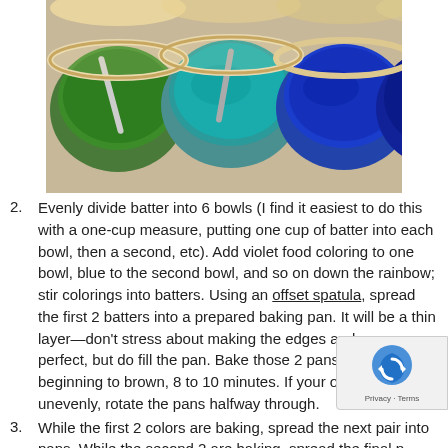[Figure (photo): Four bowls of colored cake batter (green, teal/light blue, blue, dark blue) viewed from above, with spoons or spatulas in them, arranged on a surface.]
Evenly divide batter into 6 bowls (I find it easiest to do this with a one-cup measure, putting one cup of batter into each bowl, then a second, etc). Add violet food coloring to one bowl, blue to the second bowl, and so on down the rainbow; stir colorings into batters. Using an offset spatula, spread the first 2 batters into a prepared baking pan. It will be a thin layer—don't stress about making the edges and corners perfect, but do fill the pan. Bake those 2 pans until just beginning to brown, 8 to 10 minutes. If your oven bakes unevenly, rotate the pans halfway through.
While the first 2 colors are baking, spread the next pair into pans. While the second 2 are baking, spread the final p... Allow cakes to sit in the pan for a minute or two, then i... onto wire racks; cool. The cakes will feel fairly delicate at first